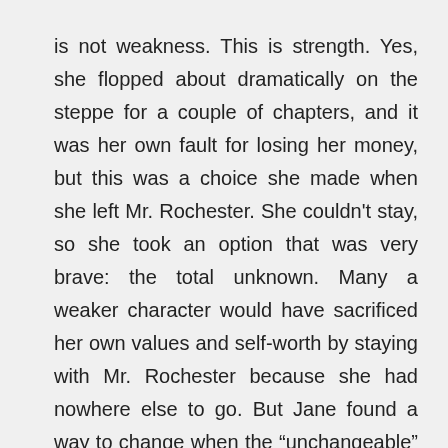is not weakness. This is strength. Yes, she flopped about dramatically on the steppe for a couple of chapters, and it was her own fault for losing her money, but this was a choice she made when she left Mr. Rochester. She couldn’t stay, so she took an option that was very brave: the total unknown. Many a weaker character would have sacrificed her own values and self-worth by staying with Mr. Rochester because she had nowhere else to go. But Jane found a way to change when the “unchangeable” finally became “unacceptable.”
Jane is strong to accept what she can not